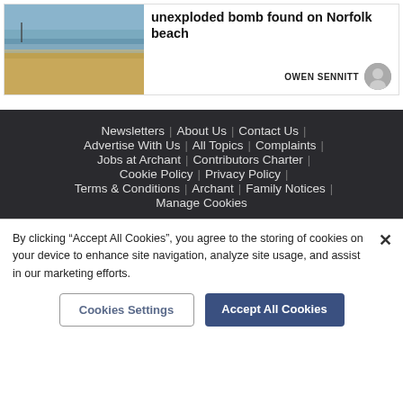[Figure (photo): Beach scene with sandy shore, water and sky visible]
unexploded bomb found on Norfolk beach
OWEN SENNITT
Newsletters | About Us | Contact Us | Advertise With Us | All Topics | Complaints | Jobs at Archant | Contributors Charter | Cookie Policy | Privacy Policy | Terms & Conditions | Archant | Family Notices | Manage Cookies
By clicking "Accept All Cookies", you agree to the storing of cookies on your device to enhance site navigation, analyze site usage, and assist in our marketing efforts.
Cookies Settings   Accept All Cookies